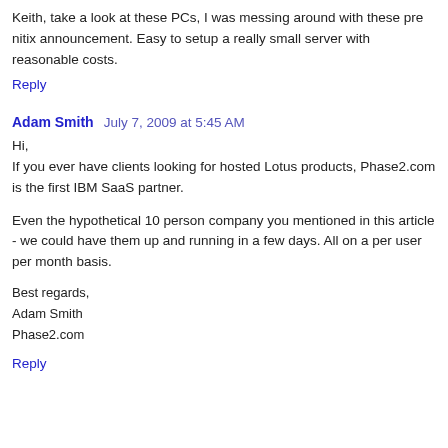Keith, take a look at these PCs, I was messing around with these pre nitix announcement. Easy to setup a really small server with reasonable costs.
Reply
Adam Smith  July 7, 2009 at 5:45 AM
Hi,
If you ever have clients looking for hosted Lotus products, Phase2.com is the first IBM SaaS partner.
Even the hypothetical 10 person company you mentioned in this article - we could have them up and running in a few days. All on a per user per month basis.
Best regards,
Adam Smith
Phase2.com
Reply